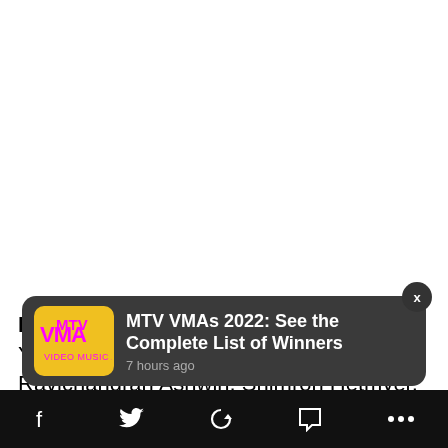RR: Sanju Samson (Captain), Jos Buttler, Yashasvi Jaiswal, Trent Boult, Ravichandran Ashwin, Shimron Hetmyer, Devdutt Padikkal, Prasidh Krishna, Yuzvendra Chahal, Riyan Parag, Navdeep Saini, Obed McCoy, Aryan...
[Figure (screenshot): Push notification popup showing MTV VMAs 2022 logo and headline 'MTV VMAs 2022: See the Complete List of Winners' with timestamp '7 hours ago'. A close button X is shown top-right.]
[Figure (screenshot): Bottom navigation bar with icons: Facebook (f), Twitter bird, share/loop icon, comment bubble, and ellipsis (...)]